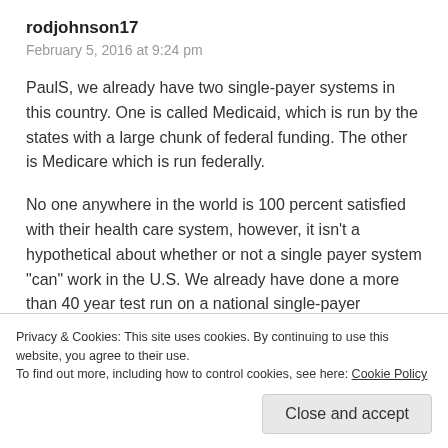rodjohnson17
February 5, 2016 at 9:24 pm
PaulS, we already have two single-payer systems in this country. One is called Medicaid, which is run by the states with a large chunk of federal funding. The other is Medicare which is run federally.
No one anywhere in the world is 100 percent satisfied with their health care system, however, it isn’t a hypothetical about whether or not a single payer system “can” work in the U.S. We already have done a more than 40 year test run on a national single-payer program, and it typically rates very highly on customer satisfaction surveys. Administrative costs in Medicare
Privacy & Cookies: This site uses cookies. By continuing to use this website, you agree to their use.
To find out more, including how to control cookies, see here: Cookie Policy